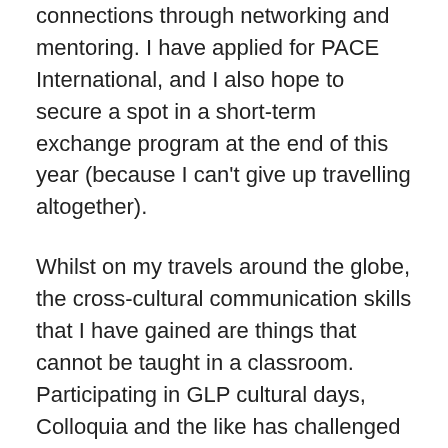connections through networking and mentoring. I have applied for PACE International, and I also hope to secure a spot in a short-term exchange program at the end of this year (because I can't give up travelling altogether).
Whilst on my travels around the globe, the cross-cultural communication skills that I have gained are things that cannot be taught in a classroom. Participating in GLP cultural days, Colloquia and the like has challenged me to take on a new perspective. I reflect on all the situations I have been in, and what I could have done differently in the circumstances. Subsequently, I have found that the next time a situation is